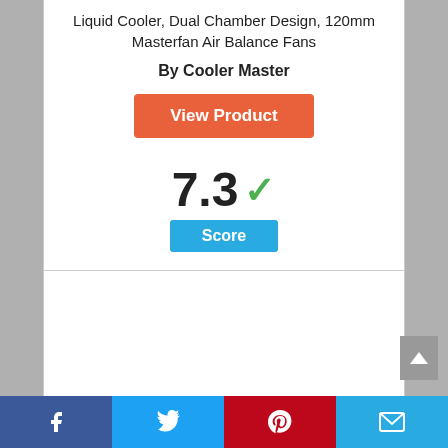Liquid Cooler, Dual Chamber Design, 120mm Masterfan Air Balance Fans
By Cooler Master
View Product
7.3 ✓
Score
[Figure (infographic): Circle badge with number 10 inside, outlined with a blue ring]
Facebook | Twitter | Pinterest | Email